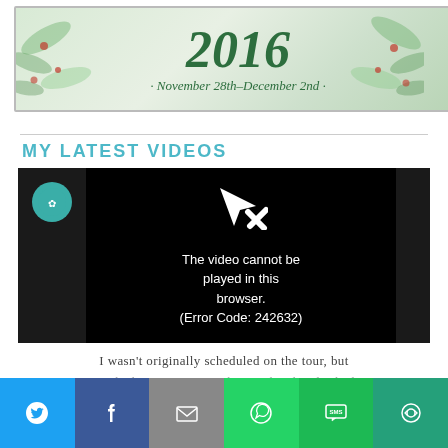[Figure (illustration): Holiday/Christmas themed banner with decorative pine branches, berries, and text reading '2016' in large italic script and 'November 28th-December 2nd' below it on a light green floral background.]
MY LATEST VIDEOS
[Figure (screenshot): Video player screenshot showing a black screen with a play button arrow icon and error message: 'The video cannot be played in this browser. (Error Code: 242632)'. Left panel shows a teal circular logo. Right panel is dark gray.]
I wasn't originally scheduled on the tour, but Jen had a spot open up this weekend and asked me if I wanted to step in. Of course I said YES!
[Figure (infographic): Social sharing bar with six buttons: Twitter (blue bird), Facebook (blue with f), Email (gray with envelope), WhatsApp (green with phone bubble), SMS (green with speech bubble), and More (dark green with circular arrows).]